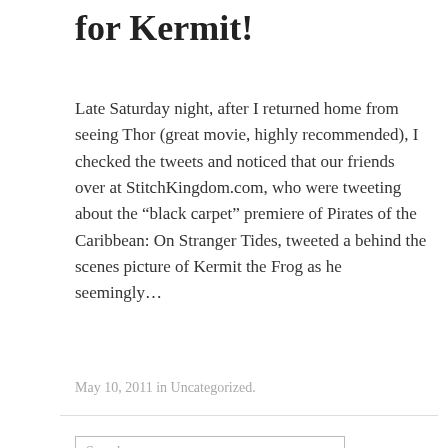for Kermit!
Late Saturday night, after I returned home from seeing Thor (great movie, highly recommended), I checked the tweets and noticed that our friends over at StitchKingdom.com, who were tweeting about the “black carpet” premiere of Pirates of the Caribbean: On Stranger Tides, tweeted a behind the scenes picture of Kermit the Frog as he seemingly…
May 10, 2011 in Uncategorized.
Search …
Contact Us